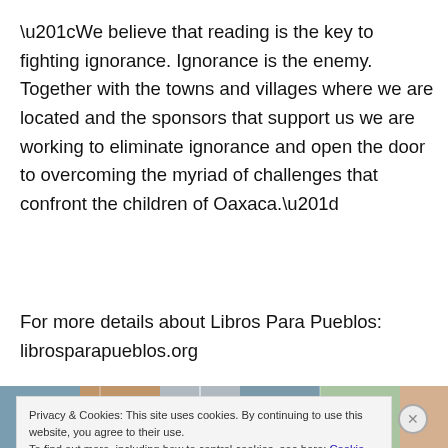“We believe that reading is the key to fighting ignorance. Ignorance is the enemy. Together with the towns and villages where we are located and the sponsors that support us we are working to eliminate ignorance and open the door to overcoming the myriad of challenges that confront the children of Oaxaca.”
For more details about Libros Para Pueblos: librosparapueblos.org
[Figure (photo): Partial photo strip visible at the bottom of the page showing colorful images]
Privacy & Cookies: This site uses cookies. By continuing to use this website, you agree to their use.
To find out more, including how to control cookies, see here: Cookie Policy
Close and accept